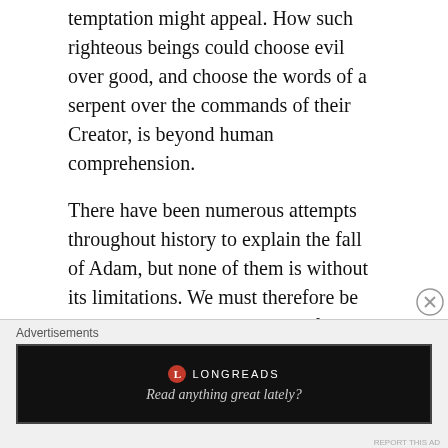temptation might appeal. How such righteous beings could choose evil over good, and choose the words of a serpent over the commands of their Creator, is beyond human comprehension.
There have been numerous attempts throughout history to explain the fall of Adam, but none of them is without its limitations. We must therefore be content with the simple truth of Scripture that although God made man righteous and holy, he was finite and mutable (i.e. subject to change) and capable of making a choice contrary to the will of God.
Advertisements
[Figure (other): Longreads advertisement banner with logo and tagline 'Read anything great lately?']